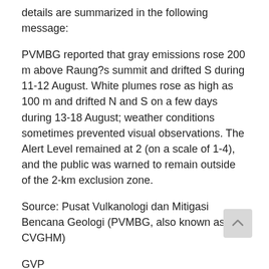details are summarized in the following message:
PVMBG reported that gray emissions rose 200 m above Raung?s summit and drifted S during 11-12 August. White plumes rose as high as 100 m and drifted N and S on a few days during 13-18 August; weather conditions sometimes prevented visual observations. The Alert Level remained at 2 (on a scale of 1-4), and the public was warned to remain outside of the 2-km exclusion zone.
Source: Pusat Vulkanologi dan Mitigasi Bencana Geologi (PVMBG, also known as CVGHM)
GVP